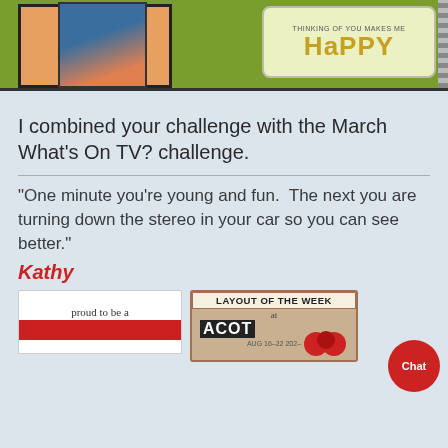[Figure (photo): Scrapbook layout showing a woman with red hair in a blue top, on a green patterned background with the text 'THINKING OF YOU MAKES ME HAPPY' in yellow and a decorative black zigzag strip on the right.]
I combined your challenge with the March What's On TV? challenge.
"One minute you're young and fun.  The next you are turning down the stereo in your car so you can see better."
Kathy
[Figure (photo): Badge reading 'proud to be a' with a red bar beneath.]
[Figure (photo): Layout of the Week badge at ACOT with decorative red circles and film strip elements.]